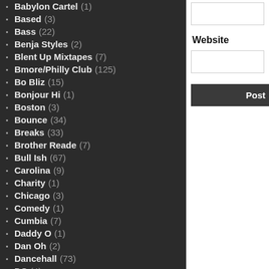Babylon Cartel (1)
Based (3)
Bass (22)
Benja Styles (2)
Blent Up Mixtapes (7)
Bmore/Philly Club (125)
Bo Bliz (15)
Bonjour Hi (1)
Boston (3)
Bounce (34)
Breaks (33)
Brother Reade (7)
Bull Ish (67)
Carolina (9)
Charity (1)
Chicago (3)
Comedy (1)
Cumbia (7)
Daddy O (1)
Dan Oh (2)
Dancehall (73)
DC (4)
Website
Post